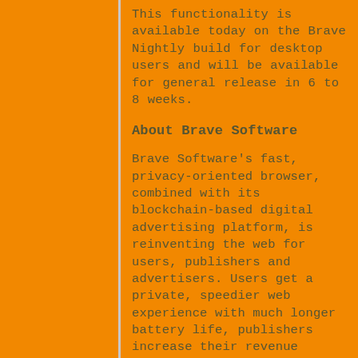This functionality is available today on the Brave Nightly build for desktop users and will be available for general release in 6 to 8 weeks.
About Brave Software
Brave Software's fast, privacy-oriented browser, combined with its blockchain-based digital advertising platform, is reinventing the web for users, publishers and advertisers. Users get a private, speedier web experience with much longer battery life, publishers increase their revenue share, and advertisers achieve better conversion. Users can opt into privacy-respecting ads that reward them with a frequent flyer-like token they can redeem or use to tip or contribute to publishers and other content creators. The Brave solution is a win-win for everyone who has a